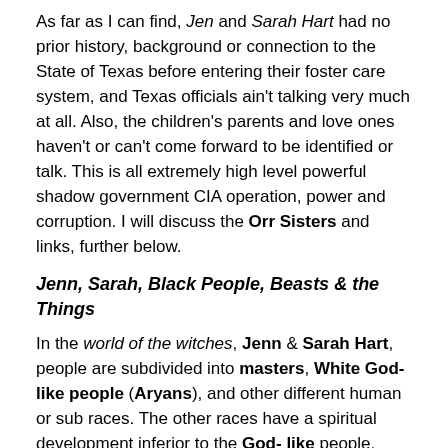As far as I can find, Jen and Sarah Hart had no prior history, background or connection to the State of Texas before entering their foster care system, and Texas officials ain't talking very much at all. Also, the children's parents and love ones haven't or can't come forward to be identified or talk. This is all extremely high level powerful shadow government CIA operation, power and corruption. I will discuss the Orr Sisters and links, further below.
Jenn, Sarah, Black People, Beasts & the Things
In the world of the witches, Jenn & Sarah Hart, people are subdivided into masters, White God-like people (Aryans), and other different human or sub races. The other races have a spiritual development inferior to the God- like people. Many Christian ministers and theologians taught that whites were the Chosen people,